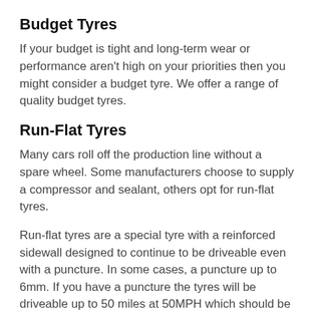Budget Tyres
If your budget is tight and long-term wear or performance aren't high on your priorities then you might consider a budget tyre. We offer a range of quality budget tyres.
Run-Flat Tyres
Many cars roll off the production line without a spare wheel. Some manufacturers choose to supply a compressor and sealant, others opt for run-flat tyres.
Run-flat tyres are a special tyre with a reinforced sidewall designed to continue to be driveable even with a puncture. In some cases, a puncture up to 6mm. If you have a puncture the tyres will be driveable up to 50 miles at 50MPH which should be more than enough to